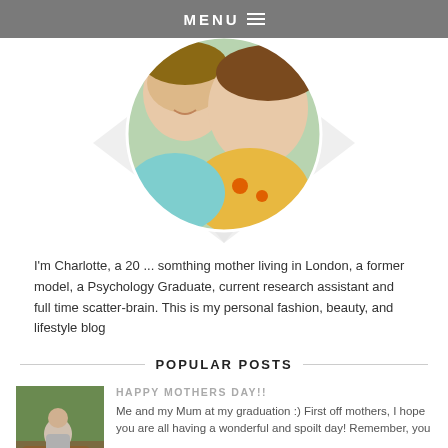MENU
[Figure (photo): Circular profile photo of two smiling people (a child and a woman) with a diamond/rhombus decorative background shape and pointer below]
I'm Charlotte, a 20 ... somthing mother living in London, a former model, a Psychology Graduate, current research assistant and full time scatter-brain. This is my personal fashion, beauty, and lifestyle blog
POPULAR POSTS
[Figure (photo): Thumbnail photo of a woman sitting outdoors on a log in jeans and a grey hoodie]
HAPPY MOTHERS DAY!!
Me and my Mum at my graduation :) First off mothers, I hope you are all having a wonderful and spoilt day! Remember, you ...
[Figure (photo): Thumbnail photo of a woman's face, close-up]
ONE BIG APOLOGY...
It's crazy how things escalate quickly. Last year I had a day...